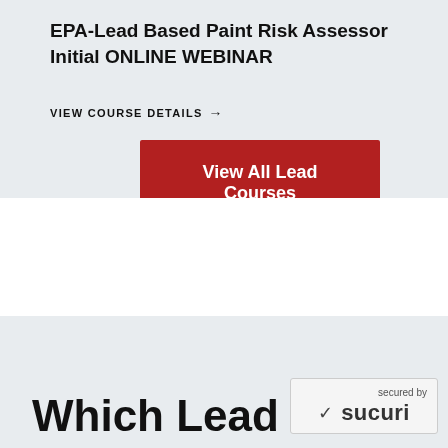EPA-Lead Based Paint Risk Assessor Initial ONLINE WEBINAR
VIEW COURSE DETAILS →
View All Lead Courses
Which Lead
[Figure (logo): Sucuri security badge showing checkmark and 'secured by sucuri' text]